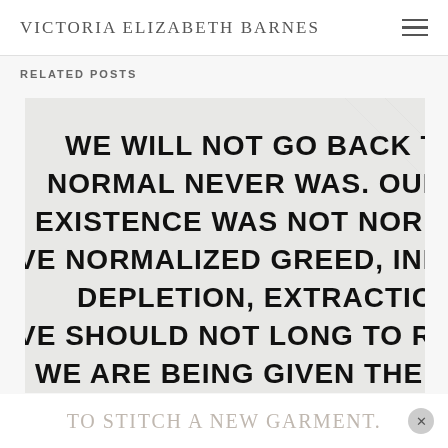Victoria Elizabeth Barnes
RELATED POSTS
[Figure (photo): A close-up photograph of a painted or printed sign with bold black text on a white/light gray background. The text reads (partially visible): 'WE WILL NOT GO BACK TO NORM[AL]. NORMAL NEVER WAS. OUR PRE-C[OVID] EXISTENCE WAS NOT NORMAL OTHE[R THAN THAT] VE NORMALIZED GREED, INEQUITY, E[XHAUSTION,] DEPLETION, EXTRACTION... VE SHOULD NOT LONG TO RETURN, MY[FRIENDS] WE ARE BEING GIVEN THE OPPOR[TUNITY]']
TO STITCH A NEW GARMENT.